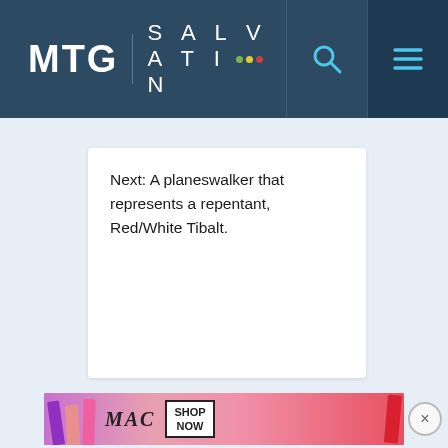MTG | SALVATION
Next: A planeswalker that represents a repentant, Red/White Tibalt.
[Figure (photo): MAC cosmetics advertisement showing lipsticks in purple, pink and red with SHOP NOW button and close X button]